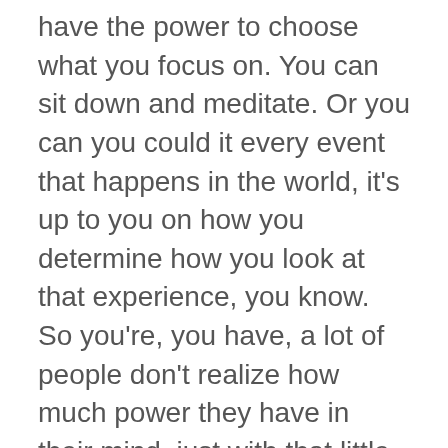have the power to choose what you focus on. You can sit down and meditate. Or you can you could it every event that happens in the world, it's up to you on how you determine how you look at that experience, you know. So you're, you have, a lot of people don't realize how much power they have in their mind, just with that little bit of freedom. Now, if you're psychotic or mentally ill, they have no control over their mind, you know, but, but the Hindus believe that deep deep down inside, they're still this self, they call it the self with a capital S. It's like the soul or, you know, the spirit or, you know, the deep, deep mind. There's something in us that is never changing. It's always there. It's immutable, immemorial, in destructible. And now the Hindus believe